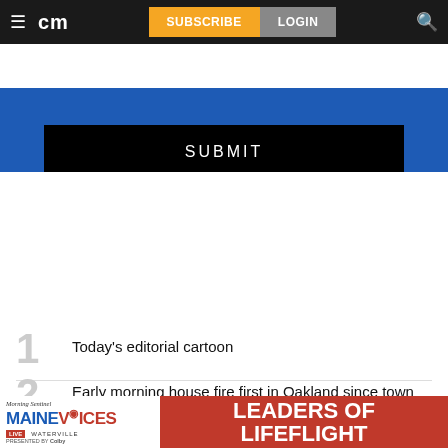cm | SUBSCRIBE | LOGIN
[Figure (screenshot): Blue form area with black SUBMIT button]
MOST READ STORIES
1. Today's editorial cartoon
2. Early morning house fire first in Oakland since town added full-time Fire Department
[Figure (infographic): Morning Sentinel Maine Voices Live Waterville presented by Colby — Leaders of Lifeflight advertisement banner]